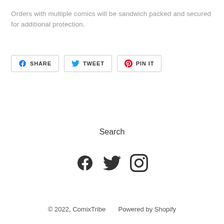Orders with multiple comics will be sandwich packed and secured for additional protection.
[Figure (other): Social share buttons: Facebook SHARE, Twitter TWEET, Pinterest PIN IT]
Search
[Figure (other): Social media icons: Facebook, Twitter, Instagram]
© 2022, ComixTribe     Powered by Shopify